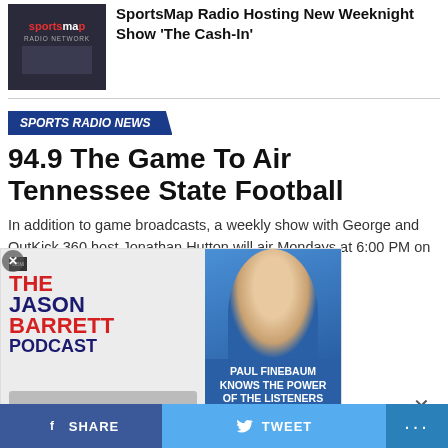[Figure (photo): SportsMap Radio Network logo/thumbnail image]
SportsMap Radio Hosting New Weeknight Show 'The Cash-In'
SPORTS RADIO NEWS
94.9 The Game To Air Tennessee State Football
In addition to game broadcasts, a weekly show with George and OutKick 360 host Jonathan Hutton will air Mondays at 6:00 PM on ...ame.
[Figure (photo): The Jason Barrett Podcast ad overlay with Paul Finebaum photo and text 'PAUL FINEBAUM KNOWS THE POWER OF THE LISTENERS']
SHARE   TWEET   ...